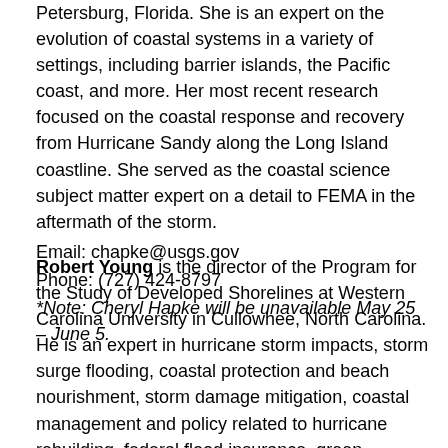Petersburg, Florida. She is an expert on the evolution of coastal systems in a variety of settings, including barrier islands, the Pacific coast, and more. Her most recent research focused on the coastal response and recovery from Hurricane Sandy along the Long Island coastline. She served as the coastal science subject matter expert on a detail to FEMA in the aftermath of the storm.
Email: chapke@usgs.gov
Phone: (727) 424-8797
*Note: Cheryl Hapke will be unavailable May 25 – June 5.
Robert Young is the director of the Program for the Study of Developed Shorelines at Western Carolina University in Cullowhee, North Carolina. He is an expert in hurricane storm impacts, storm surge flooding, coastal protection and beach nourishment, storm damage mitigation, coastal management and policy related to hurricane rebuilding, federal flood insurance, green infrastructure, and dune